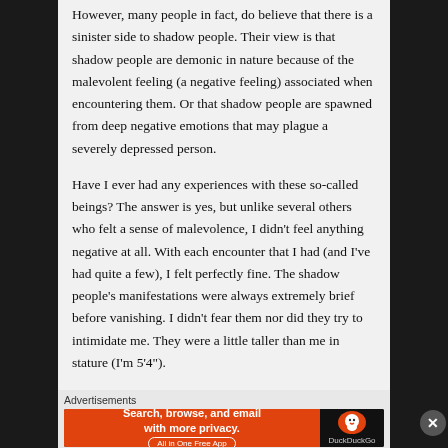However, many people in fact, do believe that there is a sinister side to shadow people. Their view is that shadow people are demonic in nature because of the malevolent feeling (a negative feeling) associated when encountering them. Or that shadow people are spawned from deep negative emotions that may plague a severely depressed person.
Have I ever had any experiences with these so-called beings? The answer is yes, but unlike several others who felt a sense of malevolence, I didn't feel anything negative at all. With each encounter that I had (and I've had quite a few), I felt perfectly fine. The shadow people's manifestations were always extremely brief before vanishing. I didn't fear them nor did they try to intimidate me. They were a little taller than me in stature (I'm 5'4").
Advertisements
[Figure (screenshot): DuckDuckGo advertisement banner: orange left section with text 'Search, browse, and email with more privacy. All in One Free App' and dark right section with DuckDuckGo logo]